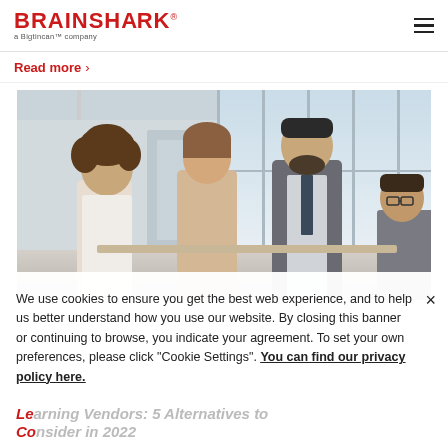BRAINSHARK a Bigtincan™ company
Read more >
[Figure (photo): Office meeting scene with three people — a woman with curly hair, a woman in a beige blazer, and a bearded man in a suit — gathered around a desk near large windows in a modern office building.]
We use cookies to ensure you get the best web experience, and to help us better understand how you use our website. By closing this banner or continuing to browse, you indicate your agreement. To set your own preferences, please click "Cookie Settings". You can find our privacy policy here.
Learning Vendors: 5 Alternatives to Consider in 2022